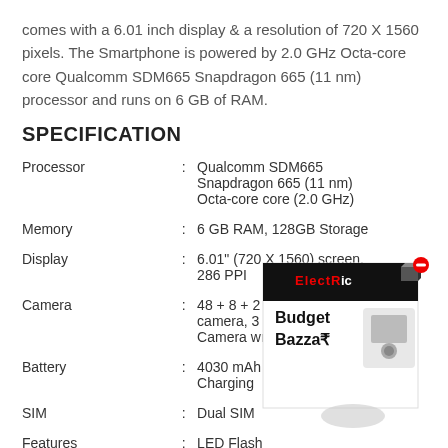comes with a 6.01 inch display & a resolution of 720 X 1560 pixels. The Smartphone is powered by 2.0 GHz Octa-core core Qualcomm SDM665 Snapdragon 665 (11 nm) processor and runs on 6 GB of RAM.
SPECIFICATION
|  |  |  |
| --- | --- | --- |
| Processor | : | Qualcomm SDM665 Snapdragon 665 (11 nm) Octa-core core (2.0 GHz) |
| Memory | : | 6 GB RAM, 128GB Storage |
| Display | : | 6.01" (720 X 1560) screen, 286 PPI |
| Camera | : | 48 + 8 + 2 camera, 3... Camera w... ng |
| Battery | : | 4030 mAh be... ast Charging |
| SIM | : | Dual SIM |
| Features | : | LED Flash |
[Figure (photo): ElectROnic Budget Bazzar product box overlay in bottom right corner]